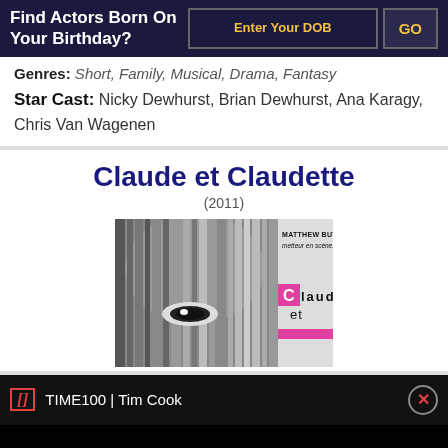Find Actors Born On Your Birthday?
Genres: Short, Family, Musical, Drama, Fantasy
Star Cast: Nicky Dewhurst, Brian Dewhurst, Ana Karagy, Chris Van Wagenen
Claude et Claudette
(2011)
[Figure (photo): Movie poster for Claude et Claudette showing a close-up of a face with hair, text reading MATTHEW BUTLER metteur en scène... and the title Claude et Claudette with a pink C box]
TIME100 | Tim Cook